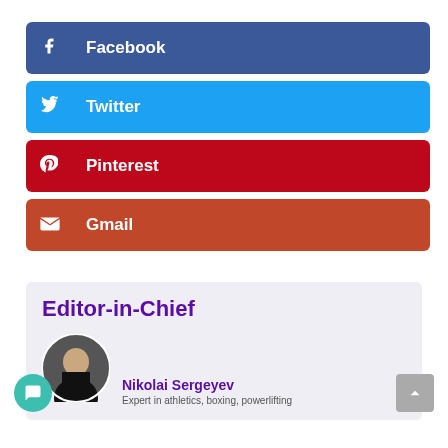[Figure (infographic): Social share buttons: Facebook (dark blue), Twitter (cyan blue), Pinterest (dark red), Gmail (terracotta orange-red)]
Editor-in-Chief
[Figure (photo): Circular avatar photo of Nikolai Sergeyev, a muscular man in a black Reebok shirt in a gym setting]
Nikolai Sergeyev
Expert in athletics, boxing, powerlifting